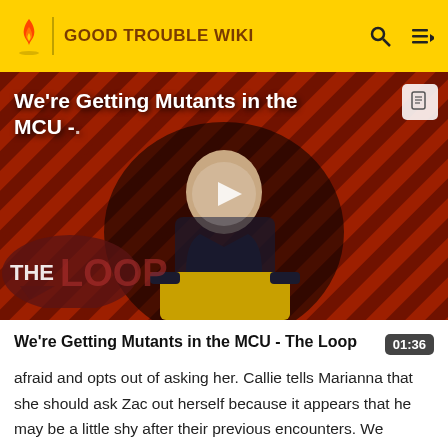GOOD TROUBLE WIKI
[Figure (screenshot): Video thumbnail showing a bald man in a suit sitting in a yellow chair, with a diagonal red and black striped background and 'THE LOOP' logo overlay. Title overlay reads: We're Getting Mutants in the MCU -. Play button visible in center.]
We're Getting Mutants in the MCU - The Loop
afraid and opts out of asking her. Callie tells Marianna that she should ask Zac out herself because it appears that he may be a little shy after their previous encounters. We